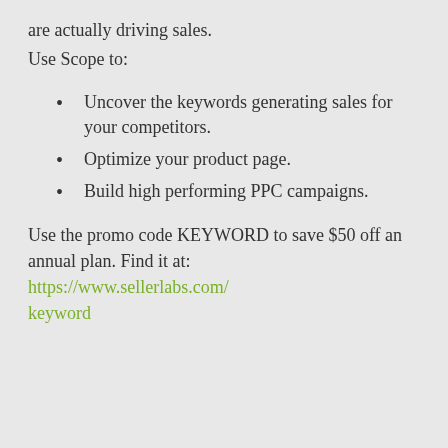are actually driving sales.
Use Scope to:
Uncover the keywords generating sales for your competitors.
Optimize your product page.
Build high performing PPC campaigns.
Use the promo code KEYWORD to save $50 off an annual plan. Find it at: https://www.sellerlabs.com/keyword